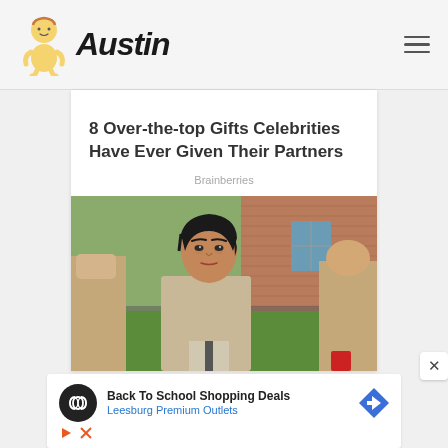Austin
8 Over-the-top Gifts Celebrities Have Ever Given Their Partners
Brainberries
[Figure (photo): Person with short dark hair wearing beige/tan outfit, outdoor scene with grass and brick building in background, two other people partially visible on either side]
[Figure (screenshot): Advertisement banner: Back To School Shopping Deals, Leesburg Premium Outlets, with circular logo and navigation arrow icon]